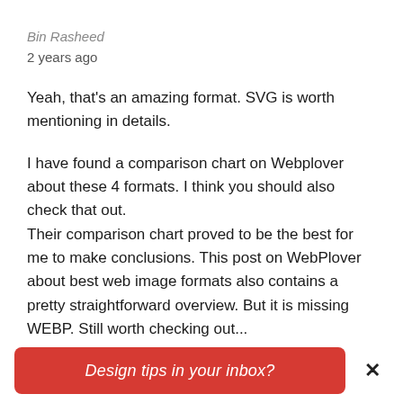Bin Rasheed
2 years ago
Yeah, that's an amazing format. SVG is worth mentioning in details.
I have found a comparison chart on Webplover about these 4 formats. I think you should also check that out.
Their comparison chart proved to be the best for me to make conclusions. This post on WebPlover about best web image formats also contains a pretty straightforward overview. But it is missing WEBP. Still worth checking out...
Design tips in your inbox?